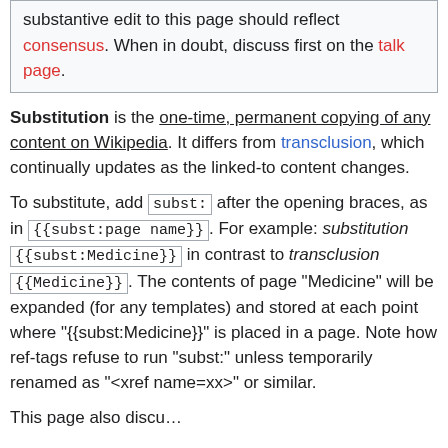substantive edit to this page should reflect consensus. When in doubt, discuss first on the talk page.
Substitution is the one-time, permanent copying of any content on Wikipedia. It differs from transclusion, which continually updates as the linked-to content changes.
To substitute, add subst: after the opening braces, as in {{subst:page name}} . For example: substitution {{subst:Medicine}} in contrast to transclusion {{Medicine}} . The contents of page "Medicine" will be expanded (for any templates) and stored at each point where "{{subst:Medicine}}" is placed in a page. Note how ref-tags refuse to run "subst:" unless temporarily renamed as "<xref name=xx>" or similar.
This page also discusses...